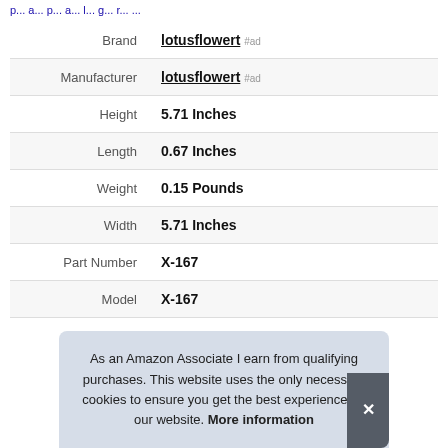...product details page heading text...
| Brand | lotusflowert #ad |
| Manufacturer | lotusflowert #ad |
| Height | 5.71 Inches |
| Length | 0.67 Inches |
| Weight | 0.15 Pounds |
| Width | 5.71 Inches |
| Part Number | X-167 |
| Model | X-167 |
As an Amazon Associate I earn from qualifying purchases. This website uses the only necessary cookies to ensure you get the best experience on our website. More information